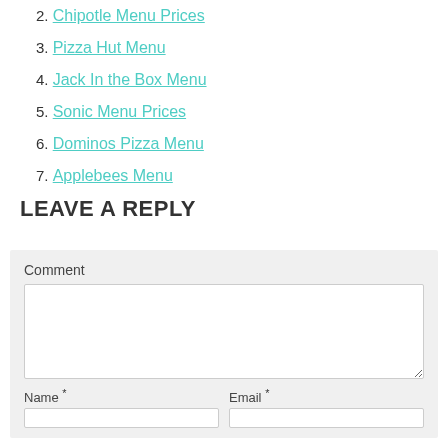2. Chipotle Menu Prices
3. Pizza Hut Menu
4. Jack In the Box Menu
5. Sonic Menu Prices
6. Dominos Pizza Menu
7. Applebees Menu
LEAVE A REPLY
Comment
Name *
Email *